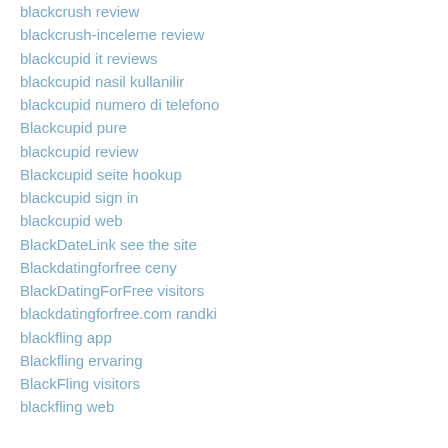blackcrush review
blackcrush-inceleme review
blackcupid it reviews
blackcupid nasil kullanilir
blackcupid numero di telefono
Blackcupid pure
blackcupid review
Blackcupid seite hookup
blackcupid sign in
blackcupid web
BlackDateLink see the site
Blackdatingforfree ceny
BlackDatingForFree visitors
blackdatingforfree.com randki
blackfling app
Blackfling ervaring
BlackFling visitors
blackfling web